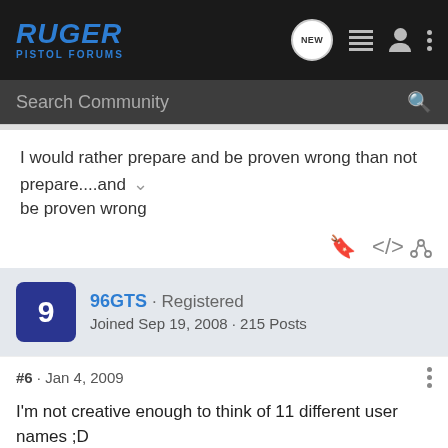RUGER PISTOL FORUMS — navigation bar with logo, NEW button, list icon, user icon, and more options icon
Search Community
I would rather prepare and be proven wrong than not prepare....and be proven wrong
96GTS · Registered
Joined Sep 19, 2008 · 215 Posts
#6 · Jan 4, 2009
I'm not creative enough to think of 11 different user names ;D That's why my name is carried over from car forums lol 😄